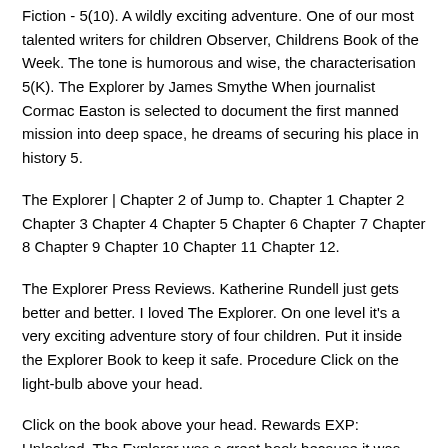Fiction - 5(10). A wildly exciting adventure. One of our most talented writers for children Observer, Childrens Book of the Week. The tone is humorous and wise, the characterisation 5(K). The Explorer by James Smythe When journalist Cormac Easton is selected to document the first manned mission into deep space, he dreams of securing his place in history 5.
The Explorer | Chapter 2 of Jump to. Chapter 1 Chapter 2 Chapter 3 Chapter 4 Chapter 5 Chapter 6 Chapter 7 Chapter 8 Chapter 9 Chapter 10 Chapter 11 Chapter 12.
The Explorer Press Reviews. Katherine Rundell just gets better and better. I loved The Explorer. On one level it's a very exciting adventure story of four children. Put it inside the Explorer Book to keep it safe. Procedure Click on the light-bulb above your head.
Click on the book above your head. Rewards EXP: Unlocked. The Explorer was a great book because it was sometimes funneh and sad. Sam, 07 December The explorer is a book with lots of action in it and it's very 55(22). This book written by John Grant and published by